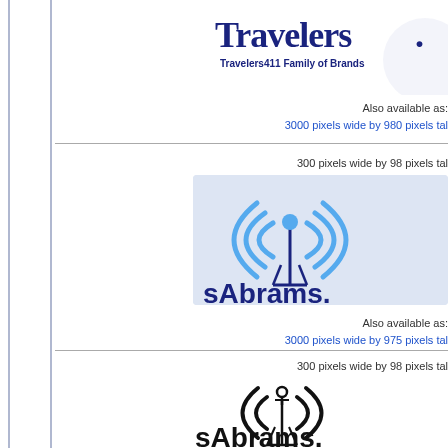[Figure (logo): Travelers411 Family of Brands logo — large 'Travelers' text in dark navy with circular element, subtitle 'Travelers411 Family of Brands']
Also available as:
3000 pixels wide by 980 pixels tal...
[Figure (logo): sAbrams.c... color logo — wireless antenna graphic in blue tones on light blue background with 'sAbrams.' text in dark blue]
300 pixels wide by 98 pixels tal...
Also available as:
3000 pixels wide by 975 pixels tal...
300 pixels wide by 98 pixels tal...
[Figure (logo): sAbrams. black and white logo — wireless antenna graphic in black with 'sAbrams.' text in black]